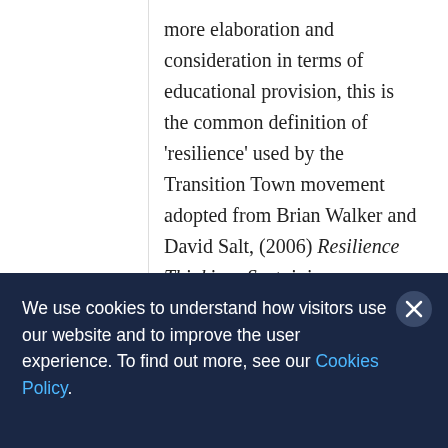more elaboration and consideration in terms of educational provision, this is the common definition of 'resilience' used by the Transition Town movement adopted from Brian Walker and David Salt, (2006) Resilience Thinking: Sustaining Ecosystems and People in a Changing World. See Rob Hopkins (2008) The Transition Handbook.
We use cookies to understand how visitors use our website and to improve the user experience. To find out more, see our Cookies Policy.